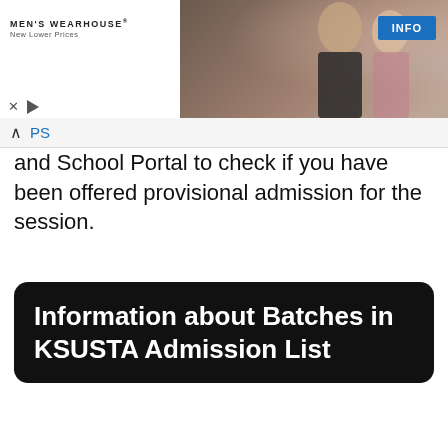[Figure (photo): Men's Wearhouse advertisement banner with couple in formal wear and a child in a suit, with INFO button]
PS and School Portal to check if you have been offered provisional admission for the session.
Information about Batches in KSUSTA Admission List
I have to expose you to some essential information regarding batches in the KSUSTA admission list.  Firstly, note that if your name comes out fast as soon as KSUSTA starts releasing admission, it means that you are in